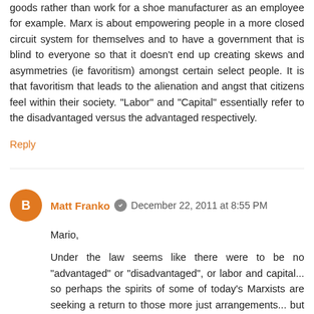goods rather than work for a shoe manufacturer as an employee for example. Marx is about empowering people in a more closed circuit system for themselves and to have a government that is blind to everyone so that it doesn't end up creating skews and asymmetries (ie favoritism) amongst certain select people. It is that favoritism that leads to the alienation and angst that citizens feel within their society. "Labor" and "Capital" essentially refer to the disadvantaged versus the advantaged respectively.
Reply
Matt Franko   December 22, 2011 at 8:55 PM
Mario,
Under the law seems like there were to be no "advantaged" or "disadvantaged", or labor and capital... so perhaps the spirits of some of today's Marxists are seeking a return to those more just arrangements... but they are using the academia and human reason instead of a faith based approach. They cannot see that it is perhaps their spirits that are guiding them...